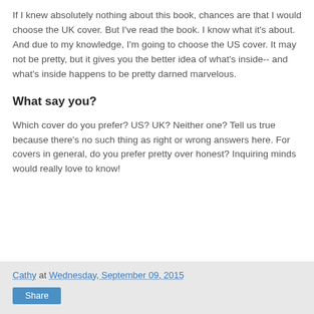If I knew absolutely nothing about this book, chances are that I would choose the UK cover. But I've read the book. I know what it's about. And due to my knowledge, I'm going to choose the US cover. It may not be pretty, but it gives you the better idea of what's inside-- and what's inside happens to be pretty darned marvelous.
What say you?
Which cover do you prefer? US? UK? Neither one? Tell us true because there's no such thing as right or wrong answers here. For covers in general, do you prefer pretty over honest? Inquiring minds would really love to know!
Cathy at Wednesday, September 09, 2015  Share